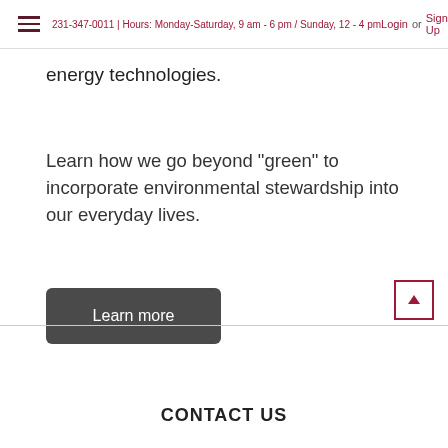231-347-0011 | Hours: Monday-Saturday, 9 am - 6 pm / Sunday, 12 - 4 pm
energy technologies.
Learn how we go beyond "green" to incorporate environmental stewardship into our everyday lives.
Learn more
CONTACT US